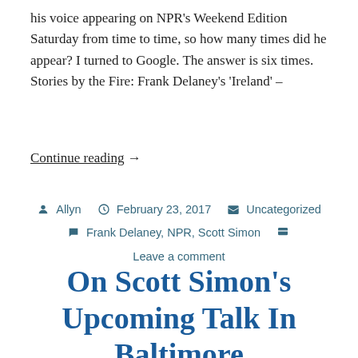his voice appearing on NPR's Weekend Edition Saturday from time to time, so how many times did he appear? I turned to Google. The answer is six times. Stories by the Fire: Frank Delaney's 'Ireland' –
Continue reading →
Allyn  February 23, 2017  Uncategorized  Frank Delaney, NPR, Scott Simon  Leave a comment
On Scott Simon's Upcoming Talk In Baltimore